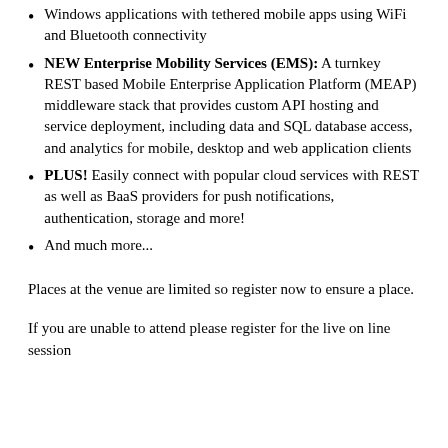Windows applications with tethered mobile apps using WiFi and Bluetooth connectivity
NEW Enterprise Mobility Services (EMS): A turnkey REST based Mobile Enterprise Application Platform (MEAP) middleware stack that provides custom API hosting and service deployment, including data and SQL database access, and analytics for mobile, desktop and web application clients
PLUS! Easily connect with popular cloud services with REST as well as BaaS providers for push notifications, authentication, storage and more!
And much more...
Places at the venue are limited so register now to ensure a place.
If you are unable to attend please register for the live on line session